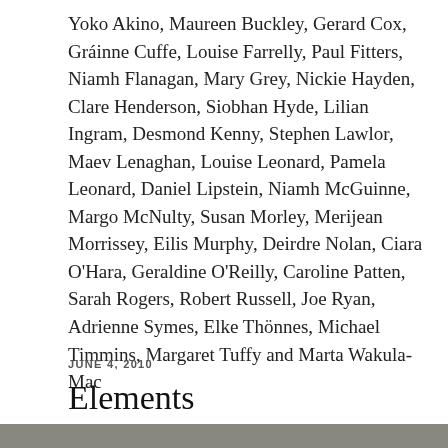Yoko Akino, Maureen Buckley, Gerard Cox, Gráinne Cuffe, Louise Farrelly, Paul Fitters, Niamh Flanagan, Mary Grey, Nickie Hayden, Clare Henderson, Siobhan Hyde, Lilian Ingram, Desmond Kenny, Stephen Lawlor, Maev Lenaghan, Louise Leonard, Pamela Leonard, Daniel Lipstein, Niamh McGuinne, Margo McNulty, Susan Morley, Merijean Morrissey, Eilis Murphy, Deirdre Nolan, Ciara O'Hara, Geraldine O'Reilly, Caroline Patten, Sarah Rogers, Robert Russell, Joe Ryan, Adrienne Symes, Elke Thönnes, Michael Timmins, Margaret Tuffy and Marta Wakula-Mac
JUNE 4, 2010
Elements
[Figure (photo): Partial image strip visible at the bottom of the page]